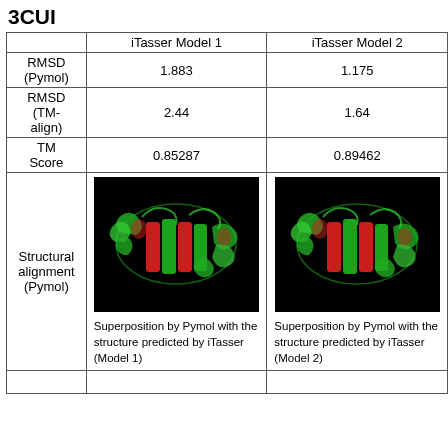3CUI
|  | iTasser Model 1 | iTasser Model 2 |
| --- | --- | --- |
| RMSD (Pymol) | 1.883 | 1.175 |
| RMSD (TM-align) | 2.44 | 1.64 |
| TM Score | 0.85287 | 0.89462 |
| Structural alignment (Pymol) | [image: protein superposition model 1] Superposition by Pymol with the structure predicted by iTasser (Model 1) | [image: protein superposition model 2] Superposition by Pymol with the structure predicted by iTasser (Model 2) |
|  |  |  |